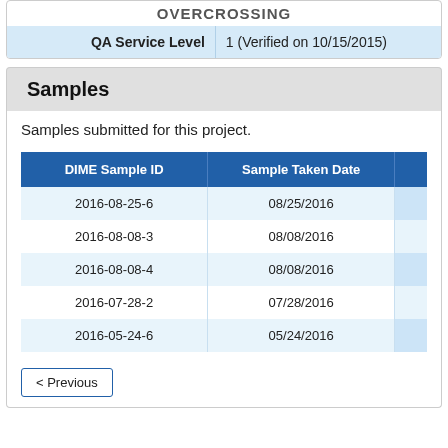| QA Service Level |  |
| --- | --- |
| QA Service Level | 1 (Verified on 10/15/2015) |
Samples
Samples submitted for this project.
| DIME Sample ID | Sample Taken Date |
| --- | --- |
| 2016-08-25-6 | 08/25/2016 |
| 2016-08-08-3 | 08/08/2016 |
| 2016-08-08-4 | 08/08/2016 |
| 2016-07-28-2 | 07/28/2016 |
| 2016-05-24-6 | 05/24/2016 |